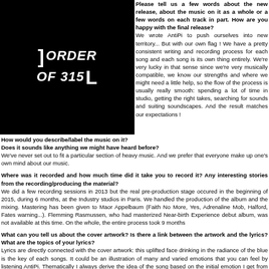[Figure (logo): Black square with Order of 315 logo text in white italic bold font with bracket decorations]
Please tell us a few words about the new release, about the music on it as a whole or a few words on each track in part. How are you happy with the final release? We wrote AntiPi to push ourselves into new territory... But with our own flag ! We have a pretty consistent writing and recording process for each song and each song is its own thing entirely. We're very lucky in that sense since we're very musically compatible, we know our strengths and where we might need a little help, so the flow of the process is usually really smooth: spending a lot of time in studio, getting the right takes, searching for sounds and suiting soundscapes. And the result matches our expectations !
How would you describe/label the music on it? Does it sounds like anything we might have heard before? We've never set out to fit a particular section of heavy music. And we prefer that everyone make up one's own mind about our music.
Where was it recorded and how much time did it take you to record it? Any interesting stories from the recording/producing the material? We did a few recording sessions in 2013 but the real pre-production stage occured in the beginning of 2015, during 6 months, at the Industry studios in Paris. We handled the production of the album and the mixing. Mastering has been given to Maor Appelbaum (Faith No More, Yes, Adrenaline Mob, Halford, Fates warning...). Flemming Rasmussen, who had masterized Near-birth Experience debut album, was not available at this time. On the whole, the entire process took 9 months
What can you tell us about the cover artwork? Is there a link between the artwork and the lyrics? What are the topics of your lyrics? Lyrics are directly connected with the cover artwork: this uplifted face drinking in the radiance of the blue is the key of each songs. It could be an illustration of many and varied emotions that you can feel by listening AntiPi. Thematically I always derive the idea of the song based on the initial emotion I get from listening to it.The presumed message is basically the human condition, a very abstract subject, which has its positives and it's negatives. I try to manage the Romantic and the Dramatic sides.